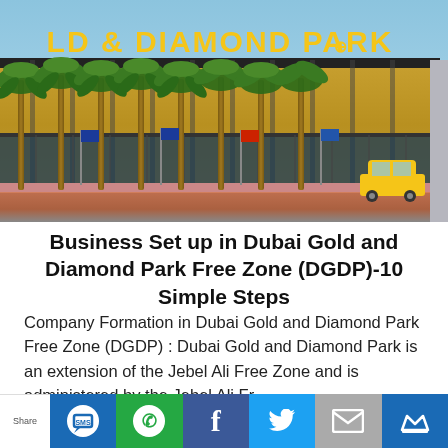[Figure (photo): Exterior photo of Dubai Gold and Diamond Park Free Zone building. Building facade has large golden Arabic and English signage reading 'Gold & Diamond Park' with palm trees lining the entrance and a taxi visible on the right side.]
Business Set up in Dubai Gold and Diamond Park Free Zone (DGDP)-10 Simple Steps
Company Formation in Dubai Gold and Diamond Park Free Zone (DGDP) : Dubai Gold and Diamond Park is an extension of the Jebel Ali Free Zone and is administered by the Jebel Ali Fr...